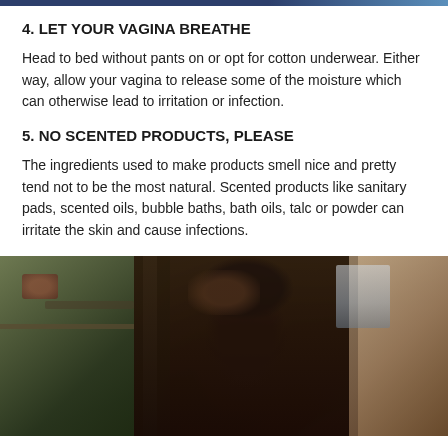4. LET YOUR VAGINA BREATHE
Head to bed without pants on or opt for cotton underwear. Either way, allow your vagina to release some of the moisture which can otherwise lead to irritation or infection.
5. NO SCENTED PRODUCTS, PLEASE
The ingredients used to make products smell nice and pretty tend not to be the most natural. Scented products like sanitary pads, scented oils, bubble baths, bath oils, talc or powder can irritate the skin and cause infections.
[Figure (photo): A dark-haired woman looking downward, photographed indoors with a blurred background showing shelving and decor. Another person with lighter hair is partially visible on the right edge.]